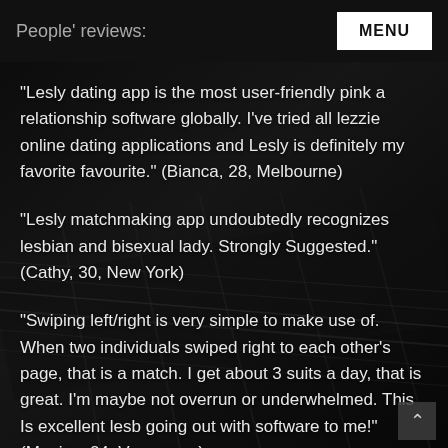People' reviews:
“Lesly dating app is the most user-friendly pink a relationship software globally. I’ve tried all lezzie online dating applications and Lesly is definitely my favorite favourite.” (Bianca, 28, Melbourne)
“Lesly matchmaking app undoubtedly recognizes lesbian and bisexual lady. Strongly Suggested.” (Cathy, 30, New York)
“Swiping left/right is very simple to make use of. When two individuals swiped right to each other’s page, that is a match. I get about 3 suits a day, that is great. I’m maybe not overrun or underwhelmed. This Is excellent lesb going out with software to me!” (Monica, 24, Vancouver)